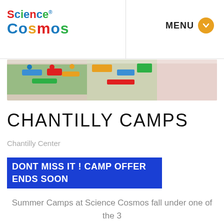[Figure (logo): Science Cosmos logo with colorful text — 'Science' in red/blue/green and 'Cosmos' in large multicolor bold font with a registered trademark symbol]
MENU
[Figure (photo): Banner photo of colorful children's STEM educational toys and circuit boards on a table]
CHANTILLY CAMPS
Chantilly Center
DONT MISS IT ! CAMP OFFER ENDS SOON
Summer Camps at Science Cosmos fall under one of the 3 tracks - STEM, Engineering